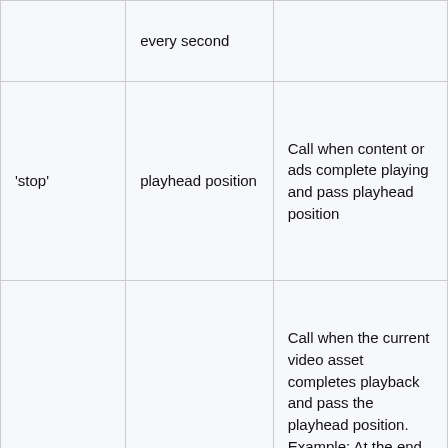|  | every second |  |
| 'stop' | playhead position | Call when content or ads complete playing and pass playhead position |
| 'end' | playhead position in seconds | Call when the current video asset completes playback and pass the playhead position. Example: At the end of the content stream, if the |